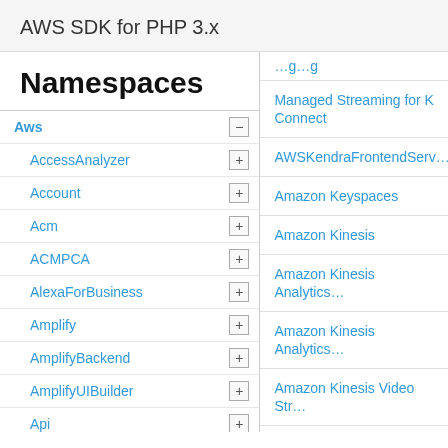AWS SDK for PHP 3.x
Namespaces
Aws
AccessAnalyzer
Account
Acm
ACMPCA
AlexaForBusiness
Amplify
AmplifyBackend
AmplifyUIBuilder
Api
ApiGateway
ApiGatewayManagementApi
Managed Streaming for K... Connect
AWSKendraFrontendServ...
Amazon Keyspaces
Amazon Kinesis
Amazon Kinesis Analytics...
Amazon Kinesis Analytics...
Amazon Kinesis Video Str...